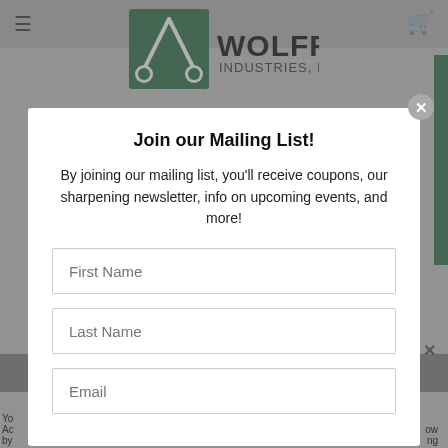[Figure (logo): Wolff Industries, Inc. logo with scissors and green square icon]
Join our Mailing List!
By joining our mailing list, you'll receive coupons, our sharpening newsletter, info on upcoming events, and more!